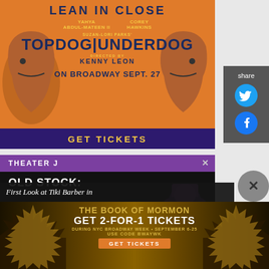[Figure (illustration): Theater advertisement for Topdog/Underdog on Broadway. Orange background with two illustrated Black men facing each other in profile. Text: LEAN IN CLOSE, YAHYA ABDUL-MATEEN II, COREY HAWKINS, SUZAN-LORI PARKS' TOPDOG|UNDERDOG, DIRECTED BY KENNY LEON, ON BROADWAY SEPT. 27, GET TICKETS]
[Figure (illustration): Share panel on right side with Twitter and Facebook icons on gray background]
[Figure (illustration): Theater J advertisement for OLD STOCK show on dark background with figure wearing top hat]
First Look at Tiki Barber in
[Figure (illustration): The Book of Mormon Broadway advertisement. Gold/dark background with starburst border design. Text: THE BOOK OF MORMON, GET 2-FOR-1 TICKETS, DURING NYC BROADWAY WEEK • SEPTEMBER 6-25, USE CODE BWAYWK, GET TICKETS]